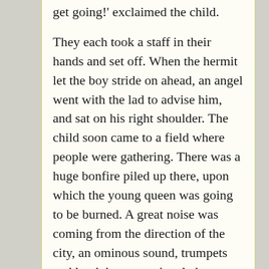get going!' exclaimed the child.

They each took a staff in their hands and set off. When the hermit let the boy stride on ahead, an angel went with the lad to advise him, and sat on his right shoulder. The child soon came to a field where people were gathering. There was a huge bonfire piled up there, upon which the young queen was going to be burned. A great noise was coming from the direction of the city, an ominous sound, trumpets and loud drums, as they led Beatrice with the old queen right behind her, beating her drum with relish. The king rode in front of them all, by a furlong or more, and the boy hurried towards him and caught his horse by the bridle.